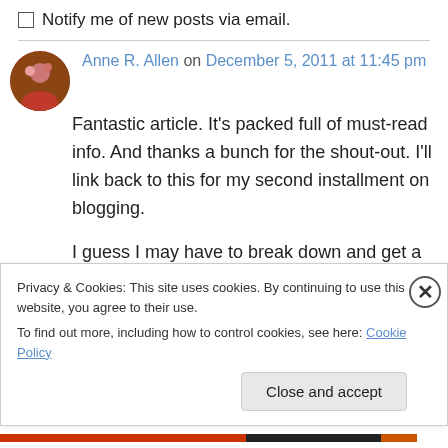Notify me of new posts via email.
Anne R. Allen on December 5, 2011 at 11:45 pm
Fantastic article. It’s packed full of must-read info. And thanks a bunch for the shout-out. I’ll link back to this for my second installment on blogging.

I guess I may have to break down and get a website. Right now, I don’t want one more thing
Privacy & Cookies: This site uses cookies. By continuing to use this website, you agree to their use.
To find out more, including how to control cookies, see here: Cookie Policy
Close and accept